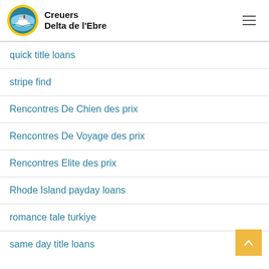Creuers Delta de l'Ebre
quick title loans
stripe find
Rencontres De Chien des prix
Rencontres De Voyage des prix
Rencontres Elite des prix
Rhode Island payday loans
romance tale turkiye
same day title loans